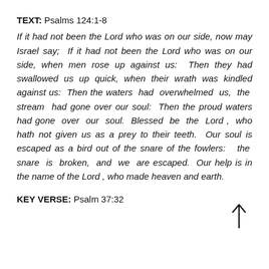TEXT: Psalms 124:1-8
If it had not been the Lord who was on our side, now may Israel say; If it had not been the Lord who was on our side, when men rose up against us: Then they had swallowed us up quick, when their wrath was kindled against us: Then the waters had overwhelmed us, the stream had gone over our soul: Then the proud waters had gone over our soul. Blessed be the Lord , who hath not given us as a prey to their teeth. Our soul is escaped as a bird out of the snare of the fowlers: the snare is broken, and we are escaped. Our help is in the name of the Lord , who made heaven and earth.
KEY VERSE: Psalm 37:32